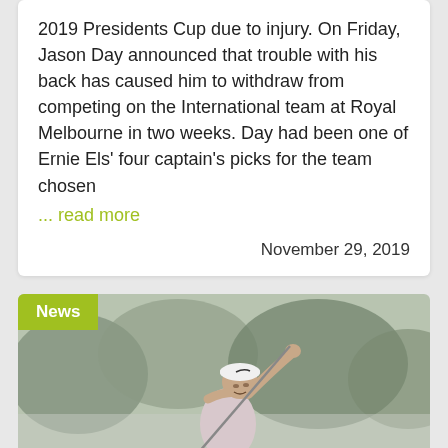2019 Presidents Cup due to injury. On Friday, Jason Day announced that trouble with his back has caused him to withdraw from competing on the International team at Royal Melbourne in two weeks. Day had been one of Ernie Els' four captain's picks for the team chosen
... read more
November 29, 2019
[Figure (photo): Photo of a golfer (Jason Day) in a white Nike cap and light pink shirt, mid-swing follow-through with a golf club, outdoors with blurred trees in background. A green 'News' badge overlays the top-left corner.]